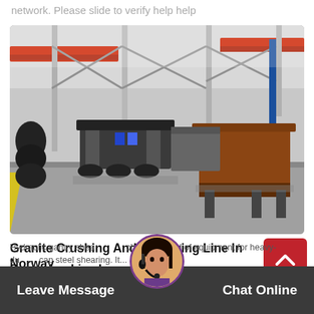network. Please slide to verify help help
[Figure (photo): Industrial factory floor showing large heavy machinery (crushers/screeners) lined up in a wide warehouse with overhead red cranes and steel framework visible]
Granite Crushing And Screening Line In Norway
Screening Line In
Hydraulic gantry shear machine is a kind of equipment for heavy-duty cap steel shearing. It...
Leave Message   Chat Online